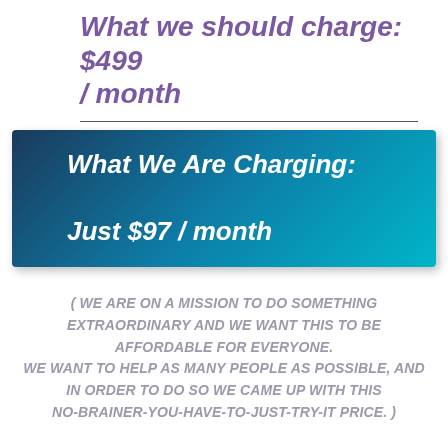What we should charge: $499 / month
[Figure (infographic): Teal/dark blue gradient banner box with white italic bold text reading 'What We Are Charging: Just $97 / month']
( WE ARE ON A MISSION TO DO SOMETHING EXTRAORDINARY AND WE WANT THIS TO BE AFFORDABLE FOR EVERYONE. WE WANT TO HELP AS MANY PEOPLE AS POSSIBLE, AND IN ORDER TO DO SO WE CAME UP WITH THIS NO-BRAINER-YOU-HAVE-TO-JUST-TRY-IT PRICE. )